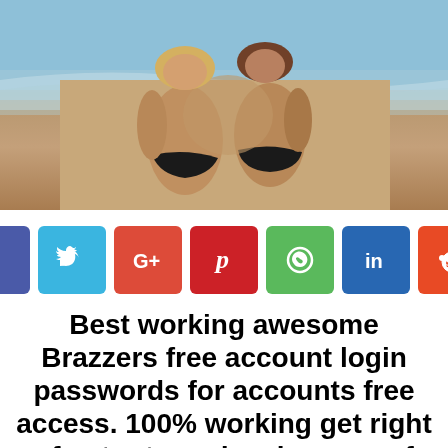[Figure (photo): Two women in black bikinis standing at a beach, viewed from behind, waves in background]
[Figure (infographic): Row of social media share buttons: Facebook (blue), Twitter (light blue), Google+ (red), Pinterest (dark red), WhatsApp (green), LinkedIn (dark blue), Reddit (orange)]
Best working awesome Brazzers free account login passwords for accounts free access. 100% working get right of entry to and makes use of for Brazzer had top-class debts